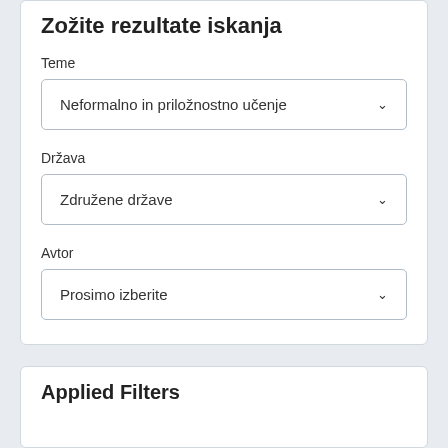Zožite rezultate iskanja
Teme
Neformalno in priložnostno učenje
Država
Združene države
Avtor
Prosimo izberite
Applied Filters